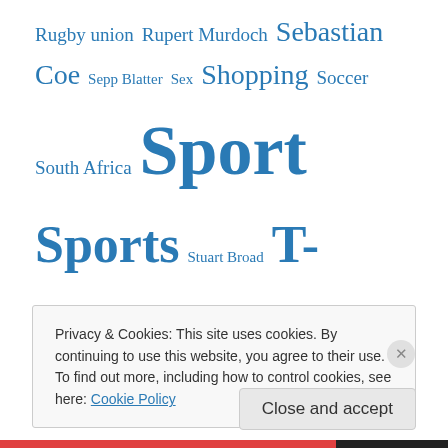Rugby union Rupert Murdoch Sebastian Coe Sepp Blatter Sex Shopping Soccer South Africa Sport Sports Stuart Broad T-shirt Television Test cricket tv uk United States Wales World Cup
Follow Blog via Email
Enter your email address to follow this blog and receive notifications of new posts by email.
Privacy & Cookies: This site uses cookies. By continuing to use this website, you agree to their use. To find out more, including how to control cookies, see here: Cookie Policy